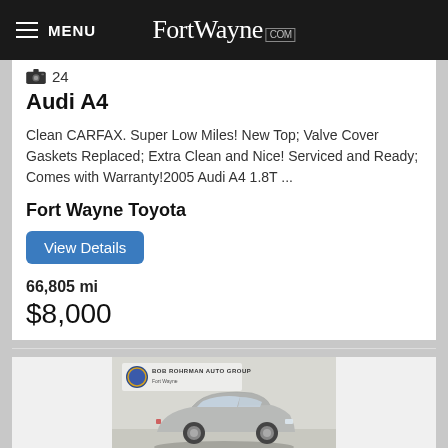MENU  FortWayne.com
24
Audi A4
Clean CARFAX. Super Low Miles! New Top; Valve Cover Gaskets Replaced; Extra Clean and Nice! Serviced and Ready; Comes with Warranty!2005 Audi A4 1.8T ...
Fort Wayne Toyota
View Details
66,805 mi
$8,000
[Figure (photo): Silver sedan car displayed in a dealership showroom with Bob Rohrman Auto Group Fort Wayne logo/banner in background]